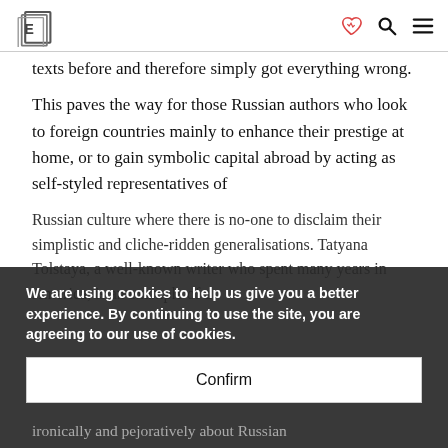[Logo] [heart icon] [search icon] [menu icon]
texts before and therefore simply got everything wrong.
This paves the way for those Russian authors who look to foreign countries mainly to enhance their prestige at home, or to gain symbolic capital abroad by acting as self-styled representatives of Russian culture where there is no-one to disclaim their simplistic and cliche-ridden generalisations. Tatyana Tolstaya, a well-known writer who spent many years in America, is an example of a
ironically and pejoratively about Russian
We are using cookies to help us give you a better experience. By continuing to use the site, you are agreeing to our use of cookies.
Confirm